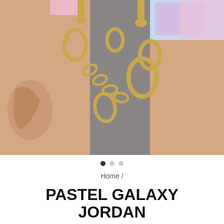[Figure (photo): Close-up photo of a pastel galaxy glitter choker and cuff set with gold chain links and carabiner-style clasps, worn on a person's wrists/waist area. The straps are iridescent pastel pink and blue glitter. Background is grey.]
Home /
PASTEL GALAXY JORDAN CHOKER AND CUFF SET
★★★★★